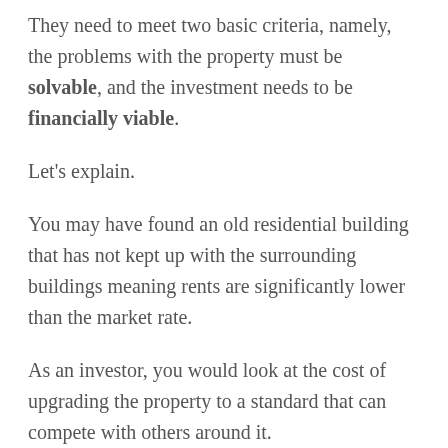They need to meet two basic criteria, namely, the problems with the property must be solvable, and the investment needs to be financially viable.
Let's explain.
You may have found an old residential building that has not kept up with the surrounding buildings meaning rents are significantly lower than the market rate.
As an investor, you would look at the cost of upgrading the property to a standard that can compete with others around it.